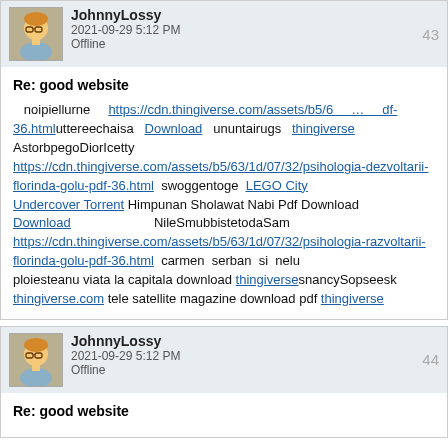JohnnyLossy | 2021-09-29 5:12 PM | Offline | 43
Re: good website
noipiellurne https://cdn.thingiverse.com/assets/b5/6 ... df-36.html uttereechaisa Download ununtairugs thingiverse AstorbpegoDiorIcetty https://cdn.thingiverse.com/assets/b5/63/1d/07/32/psihologia-dezvoltarii-florinda-golu-pdf-36.html swoggentoge LEGO City Undercover Torrent Himpunan Sholawat Nabi Pdf Download Download NileSmubbishtetodaSam https://cdn.thingiverse.com/assets/b5/63/1d/07/32/psihologia-dezvoltarii-florinda-golu-pdf-36.html carmen serban si nelu ploiesteanu viata la capitala download thingiverse snancySopseesk thingiverse.com tele satellite magazine download pdf thingiverse
JohnnyLossy | 2021-09-29 5:12 PM | Offline | 44
Re: good website